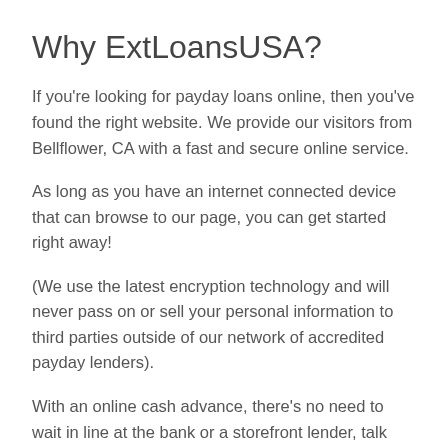Why ExtLoansUSA?
If you're looking for payday loans online, then you've found the right website. We provide our visitors from Bellflower, CA with a fast and secure online service.
As long as you have an internet connected device that can browse to our page, you can get started right away!
(We use the latest encryption technology and will never pass on or sell your personal information to third parties outside of our network of accredited payday lenders).
With an online cash advance, there's no need to wait in line at the bank or a storefront lender, talk with anyone in person or on the phone, or even fill out any physical paperwork. Since most of the documentation our lenders require is now